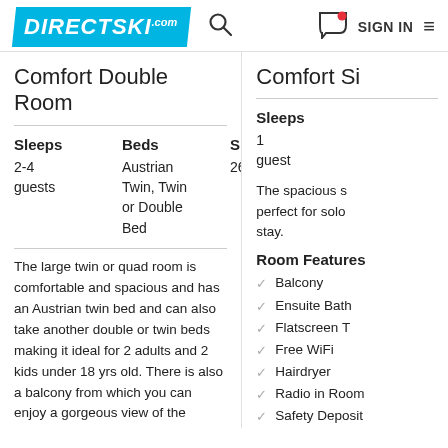DIRECTSKI.com | Search | Chat | SIGN IN | Menu
Comfort Double Room
| Sleeps | Beds | Size |
| --- | --- | --- |
| 2-4 guests | Austrian Twin, Twin or Double Bed | 26m² |
The large twin or quad room is comfortable and spacious and has an Austrian twin bed and can also take another double or twin beds making it ideal for 2 adults and 2 kids under 18 yrs old. There is also a balcony from which you can enjoy a gorgeous view of the mountains.
Room Features
Balcony
Ensuite Bath or Shower & WC
Flatscreen TV
Comfort Si[ngle Room]
| Sleeps |
| --- |
| 1 guest |
The spacious s[ingle room is] perfect for solo [travellers'] stay.
Room Features
Balcony
Ensuite Bath or Shower
Flatscreen TV
Free WiFi
Hairdryer
Radio in Room
Safety Deposit Box